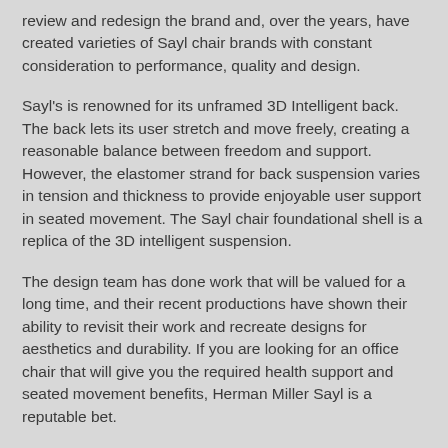review and redesign the brand and, over the years, have created varieties of Sayl chair brands with constant consideration to performance, quality and design.
Sayl's is renowned for its unframed 3D Intelligent back. The back lets its user stretch and move freely, creating a reasonable balance between freedom and support. However, the elastomer strand for back suspension varies in tension and thickness to provide enjoyable user support in seated movement. The Sayl chair foundational shell is a replica of the 3D intelligent suspension.
The design team has done work that will be valued for a long time, and their recent productions have shown their ability to revisit their work and recreate designs for aesthetics and durability. If you are looking for an office chair that will give you the required health support and seated movement benefits, Herman Miller Sayl is a reputable bet.